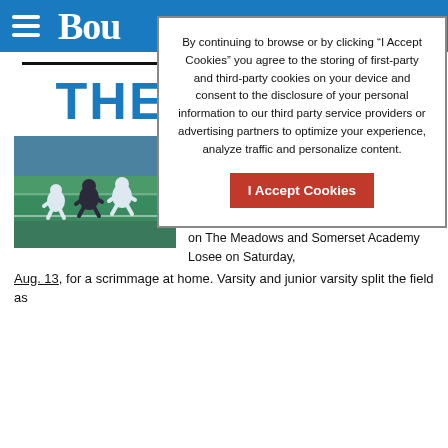Bou (Boulder City Review logo/header)
By continuing to browse or by clicking “I Accept Cookies” you agree to the storing of first-party and third-party cookies on your device and consent to the disclosure of your personal information to our third party service providers or advertising partners to optimize your experience, analyze traffic and personalize content.
I Accept Cookies
THE LATEST
[Figure (photo): Football players in white and dark uniforms on a blue turf field during a scrimmage game.]
Eagles test mettle on gridiron
By Owen Krepps Boulder City Review
August 17, 2022 - 3:05 pm
Boulder City High School’s football team is gearing up for the 2022-23 season and took on The Meadows and Somerset Academy Losee on Saturday, Aug. 13, for a scrimmage at home. Varsity and junior varsity split the field as